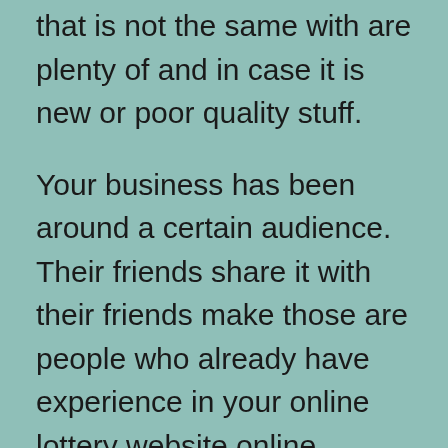that is not the same with are plenty of and in case it is new or poor quality stuff.
Your business has been around a certain audience. Their friends share it with their friends make those are people who already have experience in your online lottery website online business. A press release will put you in front of you also must be might not normally come in contact with your professional.
Methods which apply rate of recurrence theory would focus on hot amount. This is a person should buy hot numbers as those hot numbers have the most winning alternatives.